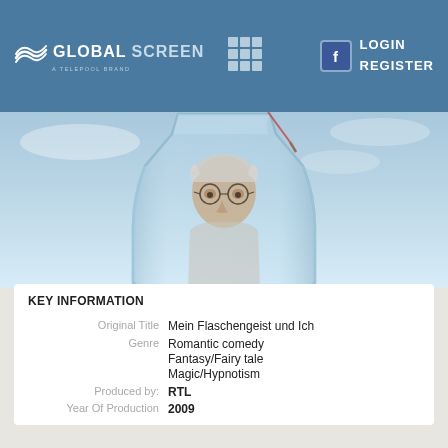GLOBAL SCREEN   LOGIN   REGISTER
[Figure (photo): Movie promotional image: a man with white hair and round glasses looking through a glass bottle, set against a light blue sky background.]
KEY INFORMATION
| Field | Value |
| --- | --- |
| Original Title | Mein Flaschengeist und Ich |
| Genre | Romantic comedy |
|  | Fantasy/Fairy tale |
|  | Magic/Hypnotism |
| Produced by: | RTL |
| Year Of Production | 2009 |